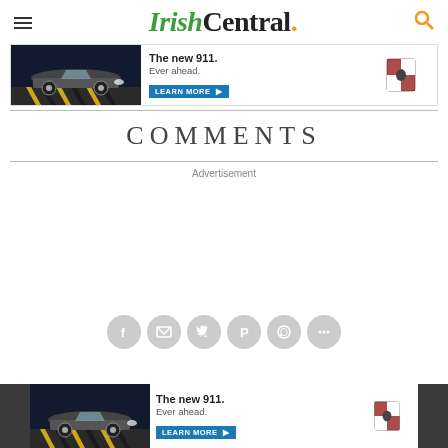IrishCentral.
[Figure (other): Porsche 911 advertisement banner with car image, 'The new 911. Ever ahead. Learn More' text and Porsche logo]
COMMENTS
Advertisement
[Figure (other): Social sharing icons row: Facebook, Email, Twitter, Pinterest, WhatsApp, More]
[Figure (other): Porsche 911 advertisement banner at bottom of page]